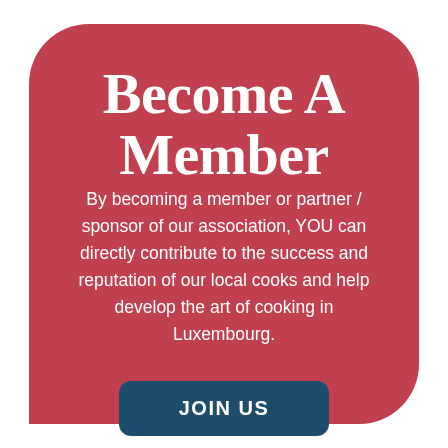Become A Member
By becoming a member or partner / sponsor of our association, YOU can directly contribute to the success and reputation of our local cooks and help develop the art of cooking in Luxembourg.
JOIN US